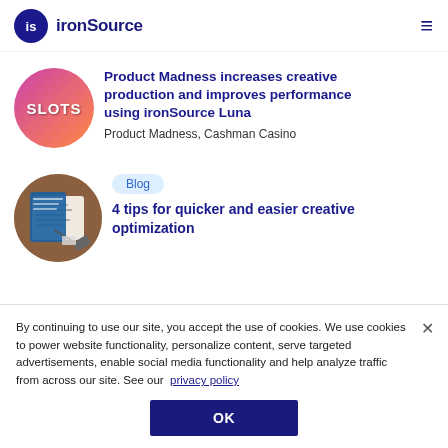ironSource
[Figure (photo): Circular image showing a slot machine game interface with colorful slot symbols and the text 'SLOTS']
Product Madness increases creative production and improves performance using ironSource Luna
Product Madness, Cashman Casino
[Figure (photo): Circular image showing a notebook, pen, and calculator on a dark wooden desk]
Blog
4 tips for quicker and easier creative optimization
By continuing to use our site, you accept the use of cookies. We use cookies to power website functionality, personalize content, serve targeted advertisements, enable social media functionality and help analyze traffic from across our site. See our privacy policy
OK